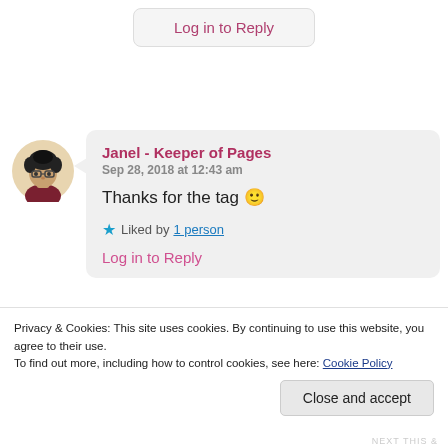Log in to Reply
[Figure (illustration): Avatar of a person with curly hair and glasses, wearing a dark top]
Janel - Keeper of Pages
Sep 28, 2018 at 12:43 am

Thanks for the tag 🙂

★ Liked by 1 person

Log in to Reply
Privacy & Cookies: This site uses cookies. By continuing to use this website, you agree to their use.
To find out more, including how to control cookies, see here: Cookie Policy
Close and accept